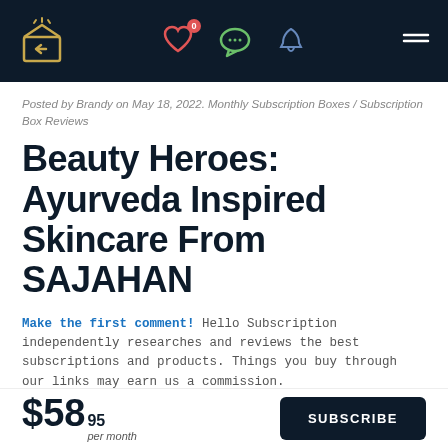Navigation bar with home, heart (0 notifications), chat, bell, and menu icons
Posted by Brandy on May 18, 2022. Monthly Subscription Boxes / Subscription Box Reviews
Beauty Heroes: Ayurveda Inspired Skincare From SAJAHAN
Make the first comment! Hello Subscription independently researches and reviews the best subscriptions and products. Things you buy through our links may earn us a commission.
Beauty Heroes May 2022 focused on skincare
$58.95 per month  SUBSCRIBE